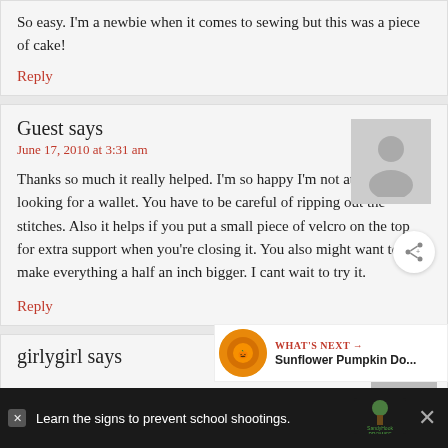So easy. I'm a newbie when it comes to sewing but this was a piece of cake!
Reply
Guest says
June 17, 2010 at 3:31 am
Thanks so much it really helped. I'm so happy I'm not at the store looking for a wallet. You have to be careful of ripping out the stitches. Also it helps if you put a small piece of velcro on the top for extra support when you're closing it. You also might want to make everything a half an inch bigger. I cant wait to try it.
Reply
WHAT'S NEXT → Sunflower Pumpkin Do...
girlygirl says
Learn the signs to prevent school shootings.